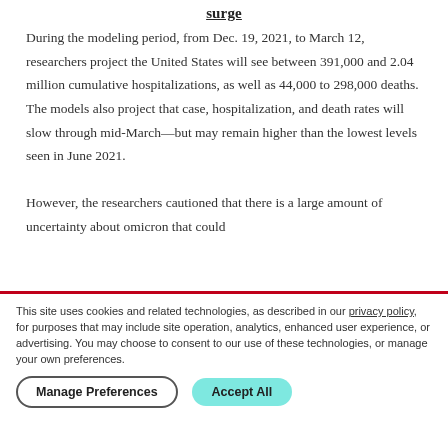surge
During the modeling period, from Dec. 19, 2021, to March 12, researchers project the United States will see between 391,000 and 2.04 million cumulative hospitalizations, as well as 44,000 to 298,000 deaths. The models also project that case, hospitalization, and death rates will slow through mid-March—but may remain higher than the lowest levels seen in June 2021.
However, the researchers cautioned that there is a large amount of uncertainty about omicron that could
This site uses cookies and related technologies, as described in our privacy policy, for purposes that may include site operation, analytics, enhanced user experience, or advertising. You may choose to consent to our use of these technologies, or manage your own preferences.